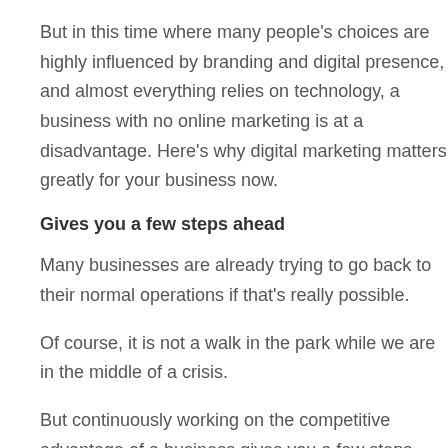But in this time where many people's choices are highly influenced by branding and digital presence, and almost everything relies on technology, a business with no online marketing is at a disadvantage. Here's why digital marketing matters greatly for your business now.
Gives you a few steps ahead
Many businesses are already trying to go back to their normal operations if that's really possible.
Of course, it is not a walk in the park while we are in the middle of a crisis.
But continuously working on the competitive advantage of a business gives you a few steps ahead of your competitors. And those steps are motivated by your online presence.
In having a business, it is important to keep in mind that where the...